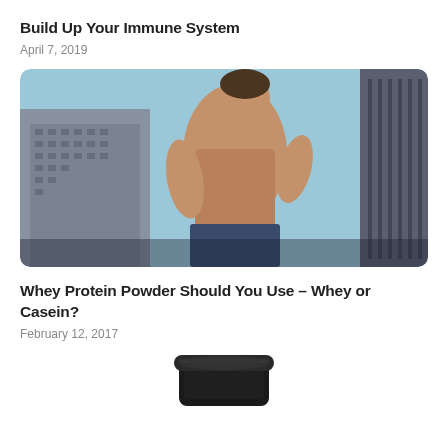Build Up Your Immune System
April 7, 2019
[Figure (photo): Shirtless athletic male posing outdoors in front of urban buildings with a blue sky background]
Whey Protein Powder Should You Use – Whey or Casein?
February 12, 2017
[Figure (photo): Bottom portion of a dark protein powder tub/container]